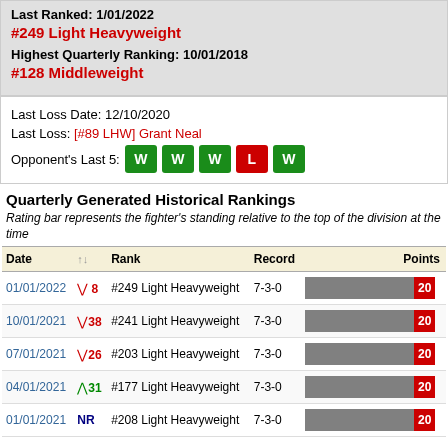Last Ranked: 1/01/2022
#249 Light Heavyweight
Highest Quarterly Ranking: 10/01/2018
#128 Middleweight
Last Loss Date: 12/10/2020
Last Loss: [#89 LHW] Grant Neal
Opponent's Last 5: W W W L W
Quarterly Generated Historical Rankings
Rating bar represents the fighter's standing relative to the top of the division at the time
| Date | ↑↓ | Rank | Record | Points |
| --- | --- | --- | --- | --- |
| 01/01/2022 | ↓8 | #249 Light Heavyweight | 7-3-0 | 20 |
| 10/01/2021 | ↓38 | #241 Light Heavyweight | 7-3-0 | 20 |
| 07/01/2021 | ↓26 | #203 Light Heavyweight | 7-3-0 | 20 |
| 04/01/2021 | ↑31 | #177 Light Heavyweight | 7-3-0 | 20 |
| 01/01/2021 | NR | #208 Light Heavyweight | 7-3-0 | 20 |